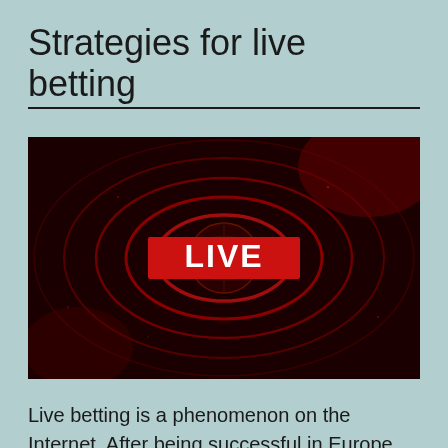Strategies for live betting
[Figure (illustration): Dark red globe/earth image with concentric glowing red rings radiating outward, with a red rectangle banner in the center displaying 'LIVE' in white bold text.]
Live betting is a phenomenon on the Internet. After being successful in Europe and the